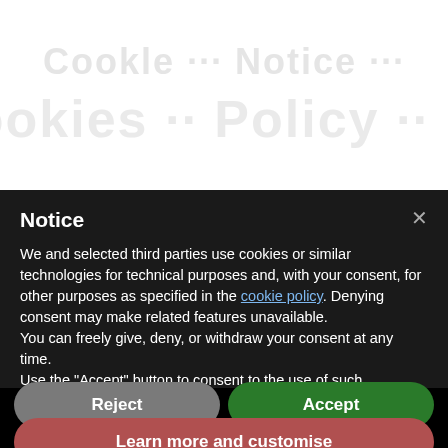[Figure (screenshot): Background webpage text visible behind the cookie notice modal, showing blurred/faded large bold text lines on a white background]
Notice
We and selected third parties use cookies or similar technologies for technical purposes and, with your consent, for other purposes as specified in the cookie policy. Denying consent may make related features unavailable.
You can freely give, deny, or withdraw your consent at any time.
Use the "Accept" button to consent to the use of such technologies. Use the "Reject" button or close this notice to continue without accepting.
Reject
Accept
Learn more and customise